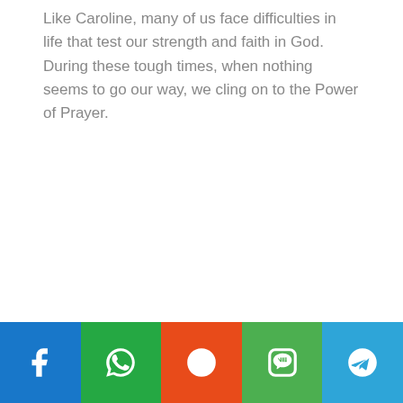Like Caroline, many of us face difficulties in life that test our strength and faith in God. During these tough times, when nothing seems to go our way, we cling on to the Power of Prayer.
[Figure (other): Social sharing bar with five buttons: Facebook (blue), WhatsApp (green), Reddit (orange-red), Line (green), Telegram (light blue)]